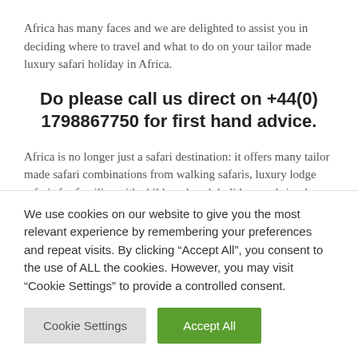Africa has many faces and we are delighted to assist you in deciding where to travel and what to do on your tailor made luxury safari holiday in Africa.
Do please call us direct on +44(0) 1798867750 for first hand advice.
Africa is no longer just a safari destination: it offers many tailor made safari combinations from walking safaris, luxury lodge safaris for families with children, beach holidays and simple self-drive breaks to luxury rail travel and superb hotels. We can arrange many types of luxury safari in Africa including canoeing
We use cookies on our website to give you the most relevant experience by remembering your preferences and repeat visits. By clicking “Accept All”, you consent to the use of ALL the cookies. However, you may visit “Cookie Settings” to provide a controlled consent.